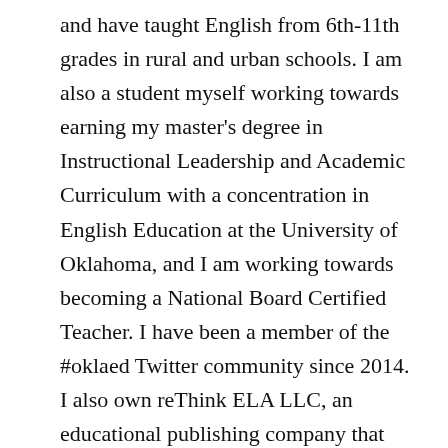and have taught English from 6th-11th grades in rural and urban schools. I am also a student myself working towards earning my master's degree in Instructional Leadership and Academic Curriculum with a concentration in English Education at the University of Oklahoma, and I am working towards becoming a National Board Certified Teacher. I have been a member of the #oklaed Twitter community since 2014. I also own reThink ELA LLC, an educational publishing company that started out as a web design and hosting company in 2001. My goal is to not only help students discover and use their voices, but also guide teachers into a role of amplifying and developing